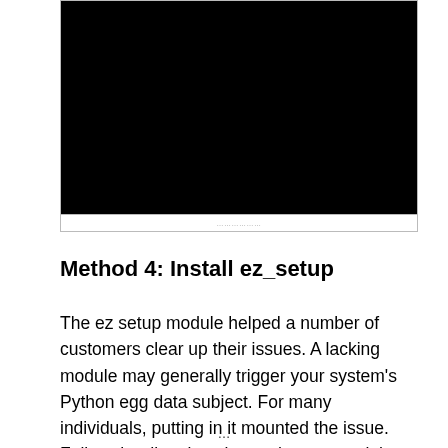[Figure (screenshot): A terminal/console window screenshot showing a black screen with some barely visible text at the bottom edge.]
Method 4: Install ez_setup
The ez setup module helped a number of customers clear up their issues. A lacking module may generally trigger your system’s Python egg data subject. For many individuals, putting in it mounted the issue. Follow the directions beneath to unravel the Python egg